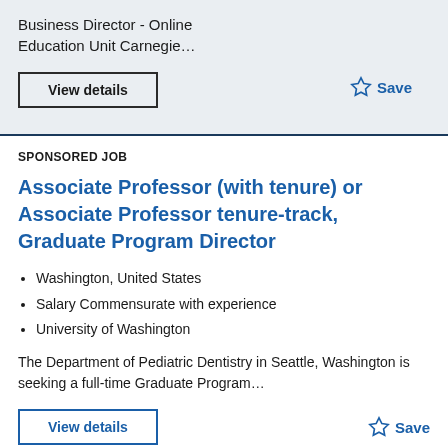Business Director - Online Education Unit Carnegie…
View details
Save
SPONSORED JOB
Associate Professor (with tenure) or Associate Professor tenure-track, Graduate Program Director
Washington, United States
Salary Commensurate with experience
University of Washington
The Department of Pediatric Dentistry in Seattle, Washington is seeking a full-time Graduate Program…
View details
Save